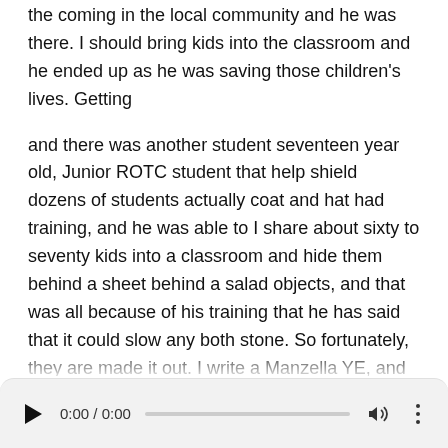the coming in the local community and he was there. I should bring kids into the classroom and he ended up as he was saving those children's lives. Getting
and there was another student seventeen year old, Junior ROTC student that help shield dozens of students actually coat and hat had training, and he was able to I share about sixty to seventy kids into a classroom and hide them behind a sheet behind a salad objects, and that was all because of his training that he has said that it could slow any both stone. So fortunately, they are made it out. I write a Manzella YE, and that is your front page news, nor I get it off you just eight hundred farms, five one o five. One of your obsession debate hit us up right now. Maybe had a bad night bad morning. You just need to vent or if you want to present positivity eight hundred five, five one, five one...
[Figure (other): Audio player bar showing play button, time 0:00 / 0:00, progress bar, volume icon, and more options (three dots) button]